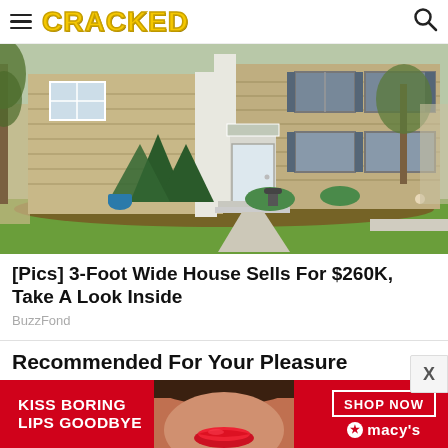CRACKED
[Figure (photo): Exterior photo of a two-story colonial-style house with beige siding, white front door, evergreen shrubs, and green lawn on a spring day.]
[Pics] 3-Foot Wide House Sells For $260K, Take A Look Inside
BuzzFond
Recommended For Your Pleasure
[Figure (photo): Advertisement banner: dark red background with woman's lips, text 'KISS BORING LIPS GOODBYE', 'SHOP NOW' button, and Macy's star logo.]